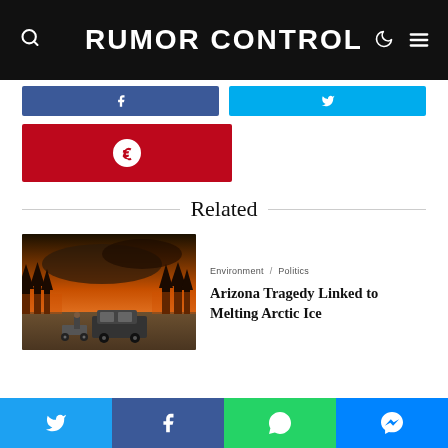RUMOR CONTROL
[Figure (screenshot): Social share buttons: Facebook (blue), Twitter/X (light blue), Pinterest (red with Pinterest logo)]
Related
[Figure (photo): A wildfire scene with orange sky and smoke, an SUV and motorcycle on a dirt road in front of burning forest]
Environment · Politics
Arizona Tragedy Linked to Melting Arctic Ice
[Figure (screenshot): Bottom social sharing bar with Twitter, Facebook, WhatsApp, and Messenger buttons]